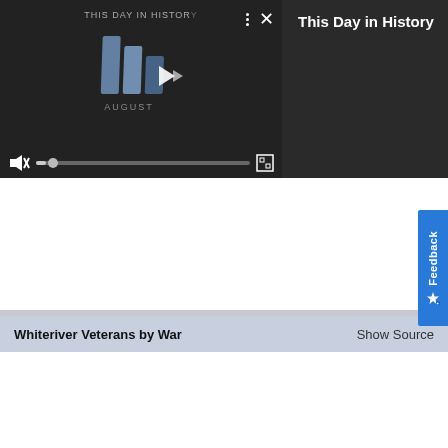[Figure (screenshot): Video player showing 'This Day in History' with playback controls, mute icon, progress bar, and fullscreen button on dark background]
This Day in History
Feedback
Whiteriver Veterans by War
Show Source